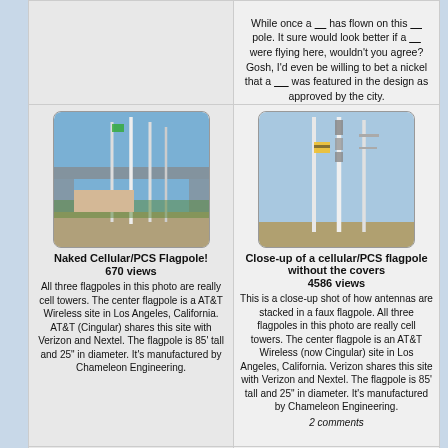While once a ___ has flown on this ___ pole. It sure would look better if a ___ were flying here, wouldn't you agree? Gosh, I'd even be willing to bet a nickel that a ___ was featured in the design as approved by the city.
[Figure (photo): Three flagpoles that are really cell towers at an AT&T Wireless site in Los Angeles, California, with an overpass in the background.]
Naked Cellular/PCS Flagpole!
670 views
All three flagpoles in this photo are really cell towers. The center flagpole is a AT&T Wireless site in Los Angeles, California. AT&T (Cingular) shares this site with Verizon and Nextel. The flagpole is 85' tall and 25" in diameter. It's manufactured by Chameleon Engineering.
[Figure (photo): Close-up of three cellular/PCS flagpoles without covers showing stacked antennas, Los Angeles, California.]
Close-up of a cellular/PCS flagpole without the covers
4586 views
This is a close-up shot of how antennas are stacked in a faux flagpole. All three flagpoles in this photo are really cell towers. The center flagpole is an AT&T Wireless (now Cingular) site in Los Angeles, California. Verizon shares this site with Verizon and Nextel. The flagpole is 85' tall and 25" in diameter. It's manufactured by Chameleon Engineering.
2 comments
[Figure (photo): Large white cylindrical tubes/pipes lying on grass, presumably flagpole components.]
[Figure (photo): A building with an American flag flying on a flagpole, with palm trees in background.]